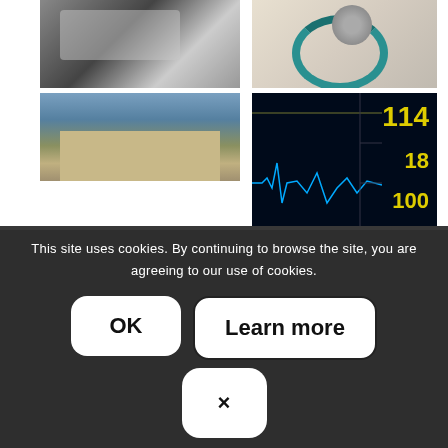[Figure (photo): Car with smoke/exhaust cloud (top left photo)]
[Figure (photo): Medical stethoscope on white background (top right photo)]
[Figure (photo): Government building with trees and cloudy sky (bottom left photo)]
[Figure (photo): Medical monitor/vital signs display showing ECG waveform and numeric values 114, 18, 100 (bottom right photo)]
This site uses cookies. By continuing to browse the site, you are agreeing to our use of cookies.
OK
Learn more
×